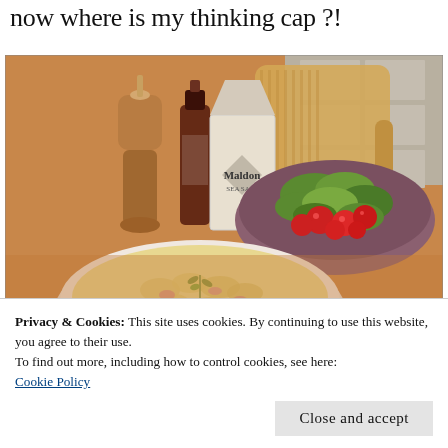now where is my thinking cap ?!
[Figure (photo): Kitchen scene with a wooden pepper grinder, a bottle of dark liquid (soy sauce or vinegar), a box of Maldon sea salt, a bowl of green salad with cherry tomatoes, and a white plate with what appears to be a creamy pasta or potato dish, all on a wooden surface with a bamboo cutting board in the background.]
Privacy & Cookies: This site uses cookies. By continuing to use this website, you agree to their use.
To find out more, including how to control cookies, see here:
Cookie Policy
Close and accept